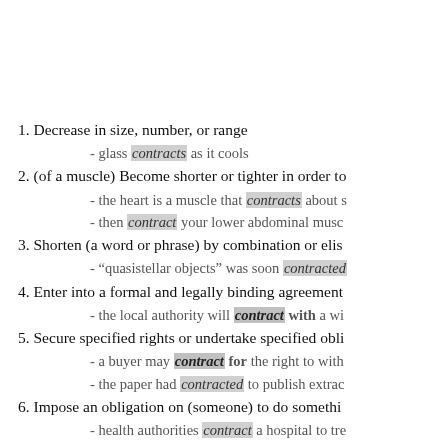1. Decrease in size, number, or range - glass contracts as it cools
2. (of a muscle) Become shorter or tighter in order to - the heart is a muscle that contracts about s - then contract your lower abdominal musc
3. Shorten (a word or phrase) by combination or elis - "quasistellar objects" was soon contracted
4. Enter into a formal and legally binding agreement - the local authority will contract with a wi
5. Secure specified rights or undertake specified obli - a buyer may contract for the right to with - the paper had contracted to publish extrac
6. Impose an obligation on (someone) to do somethi - health authorities contract a hospital to tre
7. Arrange for work to be done by another organizat - local authorities will have to contract out